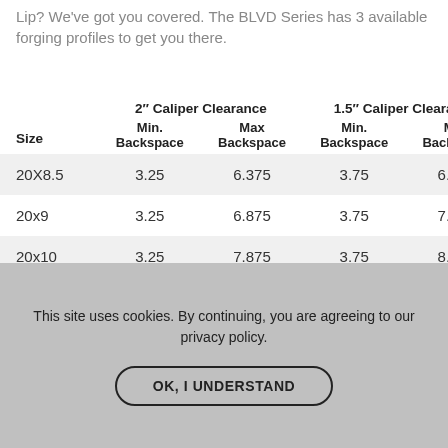Lip? We've got you covered. The BLVD Series has 3 available forging profiles to get you there.
| Size | 2" Caliper Clearance Min. Backspace | 2" Caliper Clearance Max Backspace | 1.5" Caliper Clearance Min. Backspace | 1.5" Caliper Clearance Max Backspace | 1" Caliper Min. Backspace |
| --- | --- | --- | --- | --- | --- |
| 20X8.5 | 3.25 | 6.375 | 3.75 | 6.875 | 4.25 |
| 20x9 | 3.25 | 6.875 | 3.75 | 7.375 | 4.25 |
| 20x10 | 3.25 | 7.875 | 3.75 | 8.375 | 4.25 |
This site uses cookies. By continuing, you are agreeing to our privacy policy.